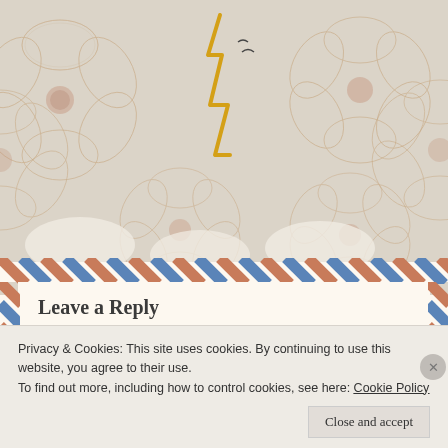[Figure (illustration): Decorative floral background with line-art flowers in beige/cream tones, airmail envelope border in blue and terracotta/orange diagonal stripes, and a yellow zigzag lightning bolt with small birds in the upper center area.]
Leave a Reply
Your email address will not be published. Required fields are marked *
Comment *
Privacy & Cookies: This site uses cookies. By continuing to use this website, you agree to their use.
To find out more, including how to control cookies, see here: Cookie Policy
Close and accept